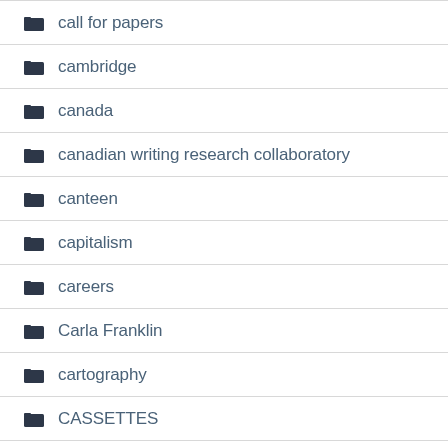call for papers
cambridge
canada
canadian writing research collaboratory
canteen
capitalism
careers
Carla Franklin
cartography
CASSETTES